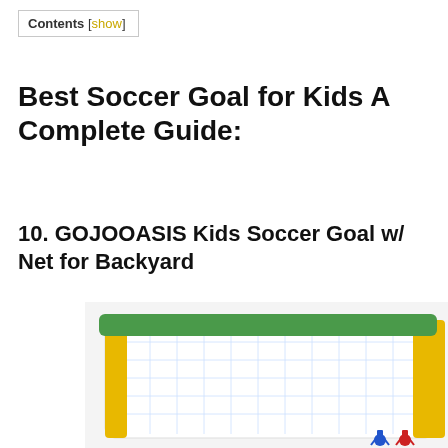Contents [show]
Best Soccer Goal for Kids A Complete Guide:
10. GOJOOASIS Kids Soccer Goal w/ Net for Backyard
[Figure (photo): Photo of a GOJOOASIS kids soccer goal with white net and green top bar, yellow side frames visible, small soccer player figure at the bottom]